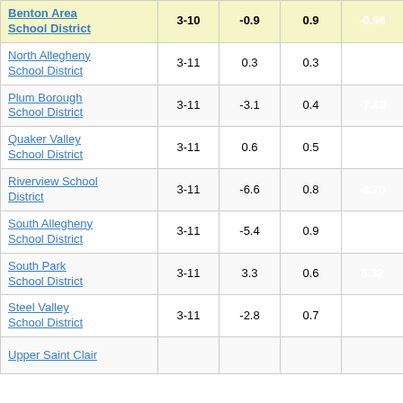|  |  |  |  |  |
| --- | --- | --- | --- | --- |
| Benton Area School District | 3-10 | -0.9 | 0.9 | -0.98 |
| North Allegheny School District | 3-11 | 0.3 | 0.3 | 1.31 |
| Plum Borough School District | 3-11 | -3.1 | 0.4 | -7.49 |
| Quaker Valley School District | 3-11 | 0.6 | 0.5 | 1.08 |
| Riverview School District | 3-11 | -6.6 | 0.8 | -8.70 |
| South Allegheny School District | 3-11 | -5.4 | 0.9 | -5.93 |
| South Park School District | 3-11 | 3.3 | 0.6 | 5.32 |
| Steel Valley School District | 3-11 | -2.8 | 0.7 | -3.99 |
| Upper Saint Clair | 3-11 | ... | ... | ... |